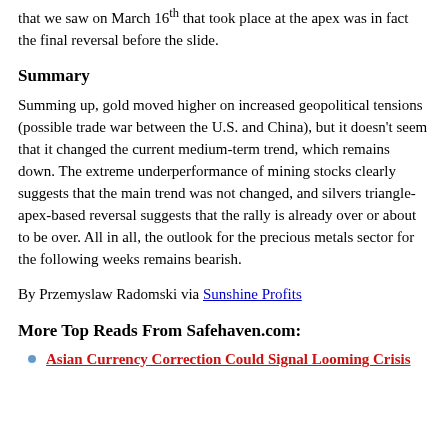that we saw on March 16th that took place at the apex was in fact the final reversal before the slide.
Summary
Summing up, gold moved higher on increased geopolitical tensions (possible trade war between the U.S. and China), but it doesn't seem that it changed the current medium-term trend, which remains down. The extreme underperformance of mining stocks clearly suggests that the main trend was not changed, and silvers triangle-apex-based reversal suggests that the rally is already over or about to be over. All in all, the outlook for the precious metals sector for the following weeks remains bearish.
By Przemyslaw Radomski via Sunshine Profits
More Top Reads From Safehaven.com:
Asian Currency Correction Could Signal Looming Crisis